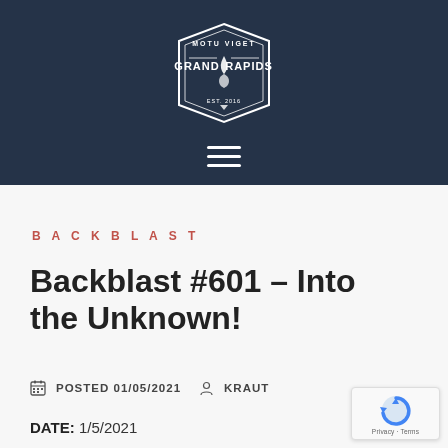[Figure (logo): Grand Rapids F3 logo — hexagonal badge with text MOTU VIGET and GRAND RAPIDS with a torch/flame icon, on dark navy background. Below the logo is a hamburger menu icon (three white horizontal lines).]
BACKBLAST
Backblast #601 – Into the Unknown!
POSTED 01/05/2021   KRAUT
DATE: 1/5/2021